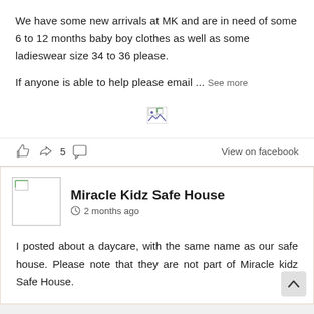We have some new arrivals at MK and are in need of some 6 to 12 months baby boy clothes as well as some ladieswear size 34 to 36 please.
If anyone is able to help please email ... See more
[Figure (photo): Broken image placeholder icon]
👍 ↪ 5 💬   View on facebook
Miracle Kidz Safe House
2 months ago
I posted about a daycare, with the same name as our safe house. Please note that they are not part of Miracle kidz Safe House.